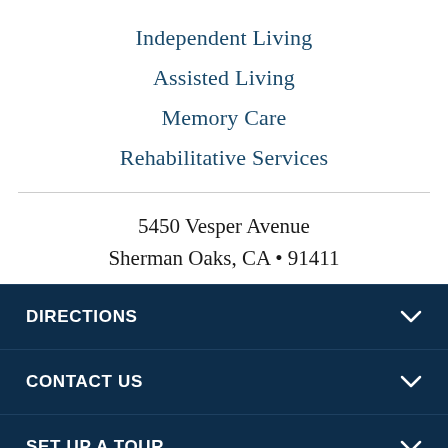Independent Living
Assisted Living
Memory Care
Rehabilitative Services
5450 Vesper Avenue
Sherman Oaks, CA • 91411
DIRECTIONS
CONTACT US
SET UP A TOUR